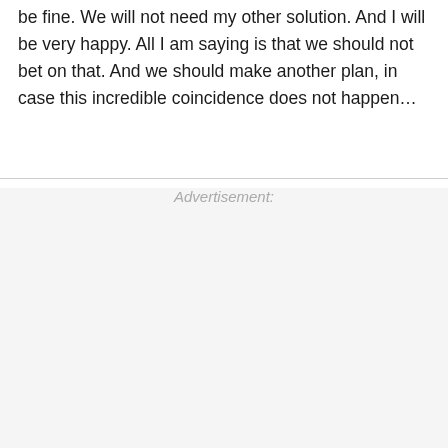be fine. We will not need my other solution. And I will be very happy. All I am saying is that we should not bet on that. And we should make another plan, in case this incredible coincidence does not happen…
Advertisement: